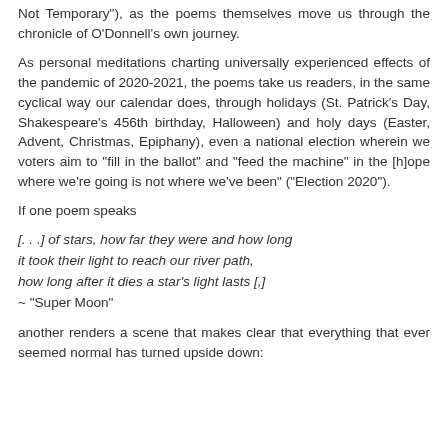Not Temporary"), as the poems themselves move us through the chronicle of O'Donnell's own journey.
As personal meditations charting universally experienced effects of the pandemic of 2020-2021, the poems take us readers, in the same cyclical way our calendar does, through holidays (St. Patrick's Day, Shakespeare's 456th birthday, Halloween) and holy days (Easter, Advent, Christmas, Epiphany), even a national election wherein we voters aim to "fill in the ballot" and "feed the machine" in the [h]ope where we're going is not where we've been" ("Election 2020").
If one poem speaks
[. . .] of stars, how far they were and how long
it took their light to reach our river path,
how long after it dies a star's light lasts [,]
~ "Super Moon"
another renders a scene that makes clear that everything that ever seemed normal has turned upside down: